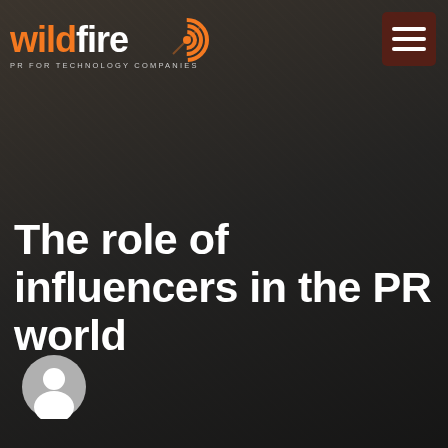[Figure (logo): Wildfire PR logo with orange wifi/signal icon and text 'wildfire PR FOR TECHNOLOGY COMPANIES']
[Figure (other): Hamburger menu button in dark red/brown rounded square]
The role of influencers in the PR world
[Figure (illustration): Generic user avatar icon, grey circle with white silhouette of a person]